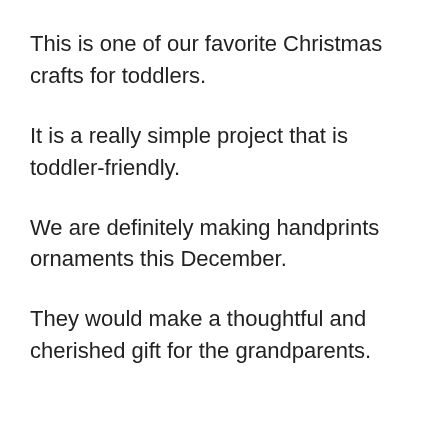This is one of our favorite Christmas crafts for toddlers.
It is a really simple project that is toddler-friendly.
We are definitely making handprints ornaments this December.
They would make a thoughtful and cherished gift for the grandparents.